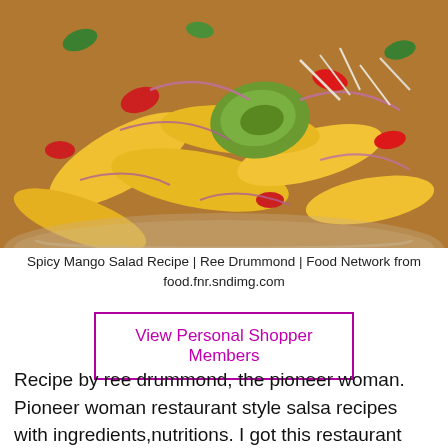[Figure (photo): Close-up photo of a colorful spicy mango salad in a glass bowl, featuring sliced mango, avocado, red onion, red peppers, and bean sprouts with a dressing.]
Spicy Mango Salad Recipe | Ree Drummond | Food Network from food.fnr.sndimg.com
View Personal Shopper Members
Recipe by ree drummond, the pioneer woman. Pioneer woman restaurant style salsa recipes with ingredients,nutritions. I got this restaurant salsa recipe from my friend (who found it in the pioneer women